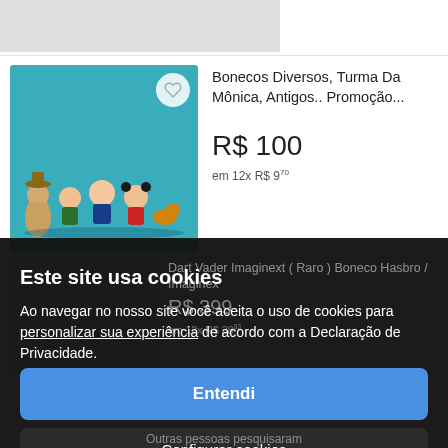[Figure (screenshot): Partial top product image strip visible at top of page, light gray background]
Bonecos Diversos, Turma Da Mônica, Antigos.. Promoção...
R$ 100
em 12x R$ 9,70
[Figure (photo): Photo of Turma da Mônica toy figurines on a blue/teal surface, with a heart/favorite button icon in the upper right corner]
Este site usa cookies
Ao navegar no nosso site você aceita o uso de cookies para personalizar sua experiência de acordo com a Declaração de Privacidade.
Dart Vader Imaginext ( Raro ) Boneco Hasbro / Imaginex
R$ 399
em 12x R$ 38,83
Entendi
Configurar cookies
Outras pessoas pesquisaram